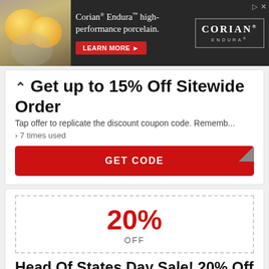[Figure (screenshot): Corian Endura advertisement banner with lemons background, headline 'Corian® Endura™ high-performance porcelain.' and LEARN MORE button]
Get up to 15% Off Sitewide Order
Tap offer to replicate the discount coupon code. Rememb...
› 7 times used
GET CODE
[Figure (infographic): Dashed border coupon box showing 20% OFF]
Head Of States Day Sale! 20% Off Your Purchase